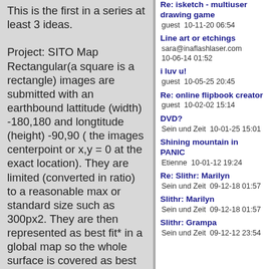This is the first in a series at least 3 ideas.

Project: SITO Map Rectangular(a square is a rectangle) images are submitted with an earthbound lattitude (width) -180,180 and longtitude (height) -90,90 ( the images centerpoint or x,y = 0 at the exact location). They are limited (converted in ratio) to a reasonable max or standard size such as 300px2. They are then represented as best fit* in a global map so the whole surface is covered as best possible by the images in relation to eachother. Images could be deliberately placed between others
Re: isketch - multiuser drawing game
guest  10-11-20 06:54
Line art or etchings
sara@inaflashlaser.com  10-06-14 01:52
i luv u!
guest  10-05-25 20:45
Re: online flipbook creator
guest  10-02-02 15:14
DVD?
Sein und Zeit  10-01-25 15:01
Shining mountain in PANIC
Etienne  10-01-12 19:24
Re: Slithr: Marilyn
Sein und Zeit  09-12-18 01:57
Slithr: Marilyn
Sein und Zeit  09-12-18 01:57
Slithr: Grampa
Sein und Zeit  09-12-12 23:54